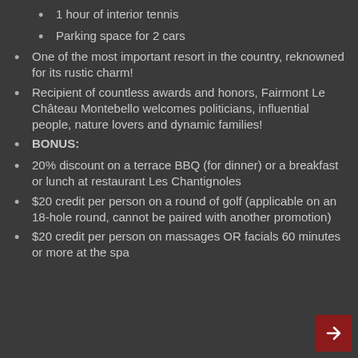1 hour of interior tennis
Parking space for 2 cars
One of the most important resort in the country, reknowned for its rustic charm!
Recipient of countless awards and honors, Fairmont Le Château Montebello welcomes politicians, influential people, nature lovers and dynamic families!
BONUS:
20% discount on a terrace BBQ (for dinner) or a breakfast or lunch at restaurant Les Chantignoles
$20 credit per person on a round of golf (applicable on an 18-hole round, cannot be paired with another promotion)
$20 credit per person on massages OR facials 60 minutes or more at the spa